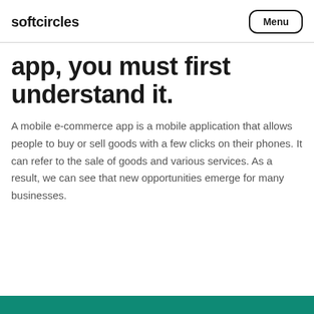softcircles   Menu
app, you must first understand it.
A mobile e-commerce app is a mobile application that allows people to buy or sell goods with a few clicks on their phones. It can refer to the sale of goods and various services. As a result, we can see that new opportunities emerge for many businesses.
[Figure (other): Teal/green color bar at bottom of page]